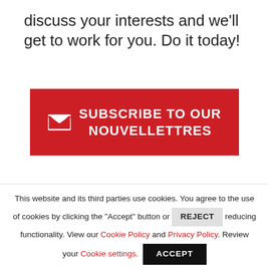discuss your interests and we'll get to work for you. Do it today!
[Figure (other): Red subscribe button with envelope icon and text: SUBSCRIBE TO OUR NOUVELLETTRES]
SHARE THIS POST
[Figure (other): Row of 5 social media share icons (Facebook, Twitter, Pinterest, LinkedIn, another) on dark backgrounds]
This website and its third parties use cookies. You agree to the use of cookies by clicking the "Accept" button or REJECT reducing functionality. View our Cookie Policy and Privacy Policy. Review your Cookie settings.